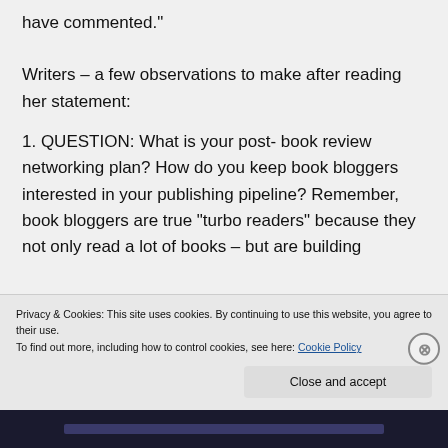have commented.”
Writers – a few observations to make after reading her statement:
1. QUESTION: What is your post- book review networking plan? How do you keep book bloggers interested in your publishing pipeline? Remember, book bloggers are true “turbo readers” because they not only read a lot of books – but are building
Privacy & Cookies: This site uses cookies. By continuing to use this website, you agree to their use.
To find out more, including how to control cookies, see here: Cookie Policy
Close and accept